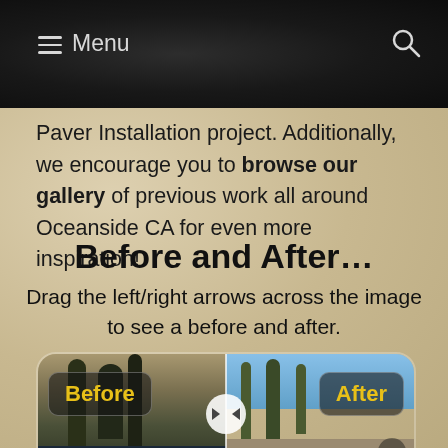Menu
Paver Installation project. Additionally, we encourage you to browse our gallery of previous work all around Oceanside CA for even more inspiration!
Before and After…
Drag the left/right arrows across the image to see a before and after.
[Figure (photo): Before and after slider widget showing a backyard with pool and palm trees. Left side labeled 'Before' showing older look, right side labeled 'After' showing paver installation improvement. A drag circle handle is visible at the center divider.]